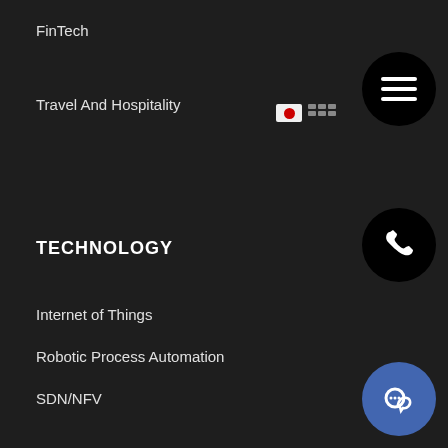FinTech
Travel And Hospitality
TECHNOLOGY
Internet of Things
Robotic Process Automation
SDN/NFV
Cloud
Big Data
Artificial Intelligence
PRODUCTS